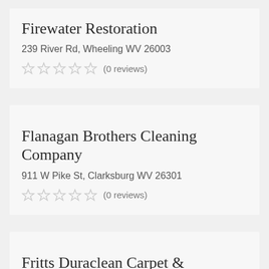Firewater Restoration
239 River Rd, Wheeling WV 26003
(0 reviews)
Flanagan Brothers Cleaning Company
911 W Pike St, Clarksburg WV 26301
(0 reviews)
Fritts Duraclean Carpet & Upholstery Cleaners